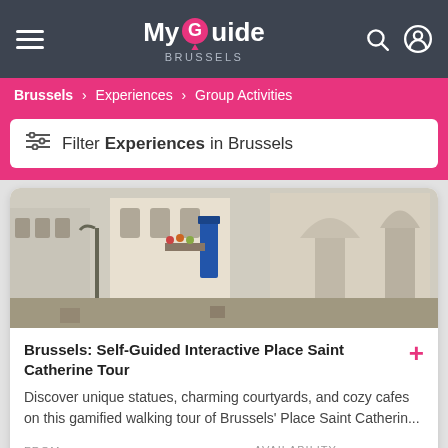My Guide Brussels
Brussels > Experiences > Group Activities
Filter Experiences in Brussels
[Figure (photo): Street view of Place Saint Catherine in Brussels showing historic facades, a blue banner, and a baroque church in the background]
Brussels: Self-Guided Interactive Place Saint Catherine Tour
Discover unique statues, charming courtyards, and cozy cafes on this gamified walking tour of Brussels' Place Saint Catherin...
FROM €22
AVAILABILITY 12.30 14.30 16.30
[Figure (photo): Partial view of a second listing card showing a dark food or dessert image]